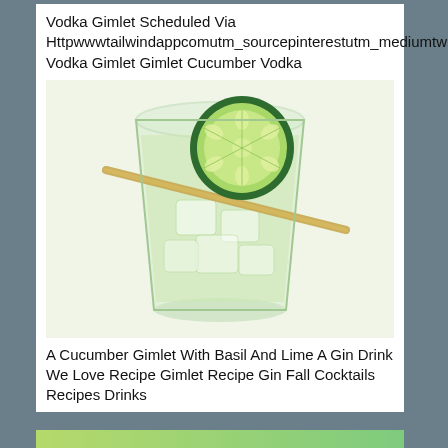Vodka Gimlet Scheduled Via Httpwwwtailwindappcomutm_sourcepinterestutm_mediumtw Vodka Gimlet Gimlet Cucumber Vodka
[Figure (photo): A glass of light green cucumber vodka gimlet cocktail with ice, garnished with a cucumber slice and a bamboo skewer/chopstick across the top.]
A Cucumber Gimlet With Basil And Lime A Gin Drink We Love Recipe Gimlet Recipe Gin Fall Cocktails Recipes Drinks